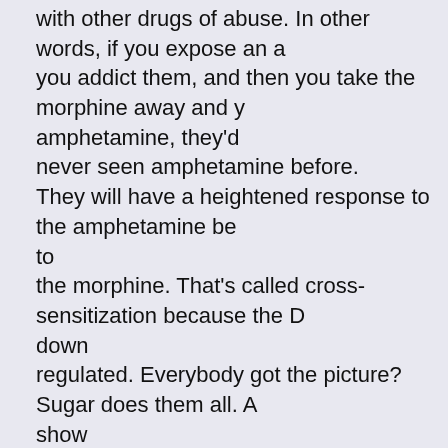with other drugs of abuse. In other words, if you expose an a you addict them, and then you take the morphine away and y amphetamine, they'd never seen amphetamine before. They will have a heightened response to the amphetamine be to the morphine. That's called cross-sensitization because the D down regulated. Everybody got the picture? Sugar does them all. A show you all the data, but we're publishing a paper out in the fall ca Addictive?" where we show all of this. How about in humans? So here are the DSM-V criteria for ad have to show tolerance or withdrawal, and then all of these ps dependencies in orange. And if you just read through them it sounds like eve Indeed, I can show you withdrawal right now. Everybody see second-graders learn nothing else about nutrition except watching this movie,